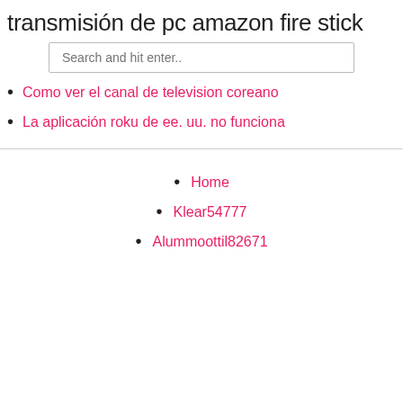transmisión de pc amazon fire stick
Search and hit enter..
Como ver el canal de television coreano
La aplicación roku de ee. uu. no funciona
Home
Klear54777
Alummoottil82671